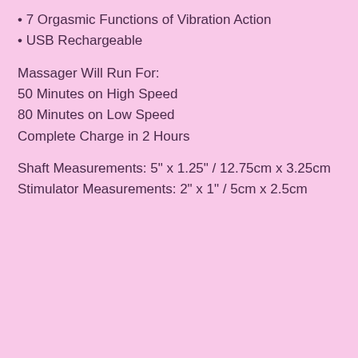• 7 Orgasmic Functions of Vibration Action
• USB Rechargeable
Massager Will Run For:
50 Minutes on High Speed
80 Minutes on Low Speed
Complete Charge in 2 Hours
Shaft Measurements: 5" x 1.25" / 12.75cm x 3.25cm
Stimulator Measurements: 2" x 1" / 5cm x 2.5cm